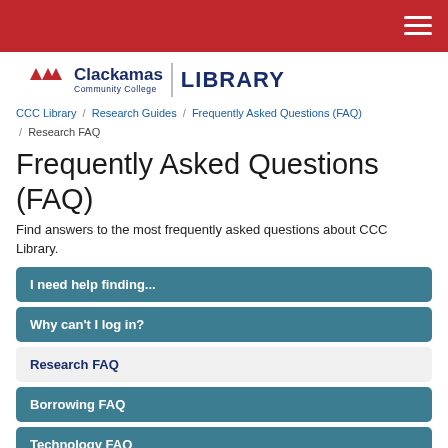Clackamas Community College Library
CCC Library / Research Guides / Frequently Asked Questions (FAQ) / Research FAQ
Frequently Asked Questions (FAQ)
Find answers to the most frequently asked questions about CCC Library.
I need help finding...
Why can't I log in?
Research FAQ
Borrowing FAQ
Technology FAQ
Library space FAQ